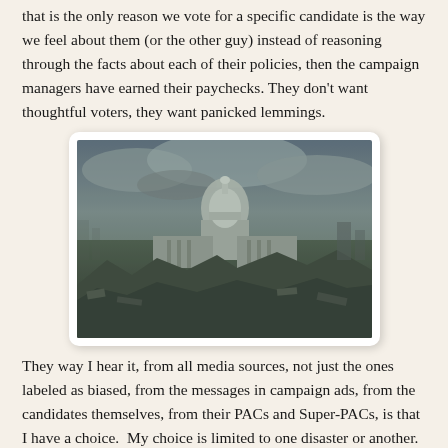that is the only reason we vote for a specific candidate is the way we feel about them (or the other guy) instead of reasoning through the facts about each of their policies, then the campaign managers have earned their paychecks. They don't want thoughtful voters, they want panicked lemmings.
[Figure (photo): A post-apocalyptic scene showing the United States Capitol building in ruins, surrounded by rubble and devastation under a dark, cloudy sky.]
They way I hear it, from all media sources, not just the ones labeled as biased, from the messages in campaign ads, from the candidates themselves, from their PACs and Super-PACs, is that I have a choice.  My choice is limited to one disaster or another.  I can choose between two different...